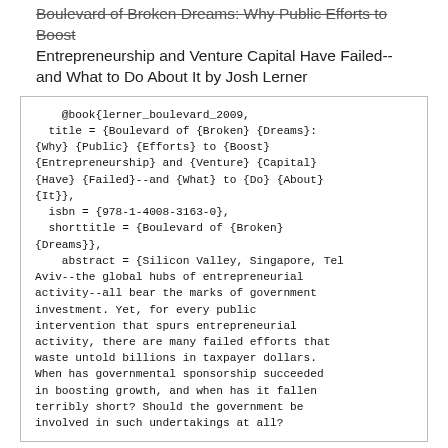Boulevard of Broken Dreams: Why Public Efforts to Boost Entrepreneurship and Venture Capital Have Failed--and What to Do About It by Josh Lerner
@book{lerner_boulevard_2009,
  title = {Boulevard of {Broken} {Dreams}: {Why} {Public} {Efforts} to {Boost} {Entrepreneurship} and {Venture} {Capital} {Have} {Failed}--and {What} to {Do} {About} {It}},
  isbn = {978-1-4008-3163-0},
  shorttitle = {Boulevard of {Broken} {Dreams}},
  abstract = {Silicon Valley, Singapore, Tel Aviv--the global hubs of entrepreneurial activity--all bear the marks of government investment. Yet, for every public intervention that spurs entrepreneurial activity, there are many failed efforts that waste untold billions in taxpayer dollars. When has governmental sponsorship succeeded in boosting growth, and when has it fallen terribly short? Should the government be involved in such undertakings at all?